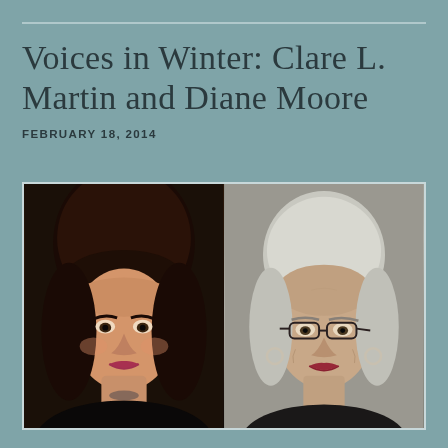Voices in Winter: Clare L. Martin and Diane Moore
FEBRUARY 18, 2014
[Figure (photo): Side-by-side portrait photos of two women: on the left, Clare L. Martin, a younger woman with dark wavy hair and bangs; on the right, Diane Moore, an older woman with short white/grey hair and glasses.]